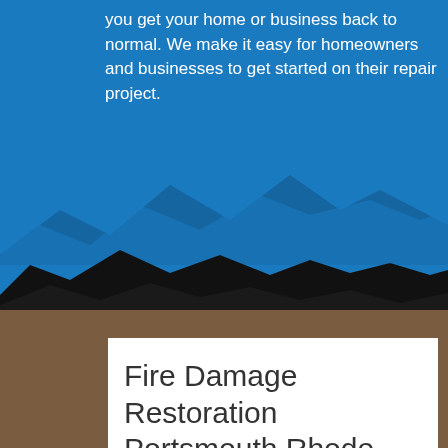you get your home or business back to normal. We make it easy for homeowners and businesses to get started on their repair project.
[Figure (illustration): Blue background with mountain silhouette shapes in blue and black, transitioning to a brown earthy background below]
Fire Damage Restoration Portsmouth Rhode Island
[Figure (photo): Fire flames burning, orange and red flames against dark background]